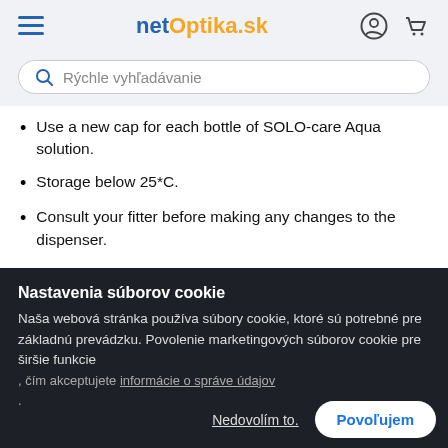netOptika.sk
Rýchle vyhľadávanie
Use a new cap for each bottle of SOLO-care Aqua solution.
Storage below 25*C.
Consult your fitter before making any changes to the dispenser.
Nastavenia súborov cookie
Naša webová stránka používa súbory cookie, ktoré sú potrebné pre základnú prevádzku. Povolenie marketingových súborov cookie pre širšie funkcie , čím akceptujete informácie o správe údajov .
Always use a fresh SOLO-care Aqua solution, do not reuse the solution once it has been used because of the loss of disinfectant effect.
NEVER pour SOLO-care Aqua solution into another bottle.